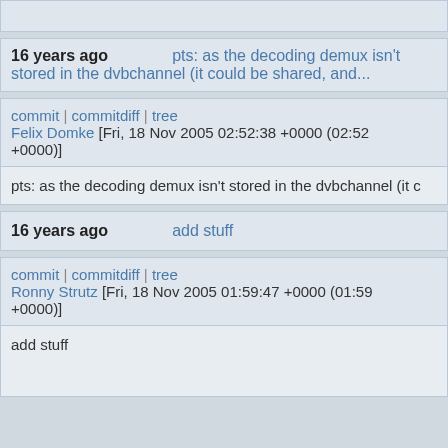(top partial block)
16 years ago   pts: as the decoding demux isn't stored in the dvbchannel (it could be shared, and...
commit | commitdiff | tree
Felix Domke [Fri, 18 Nov 2005 02:52:38 +0000 (02:52 +0000)]
pts: as the decoding demux isn't stored in the dvbchannel (it c
16 years ago   add stuff
commit | commitdiff | tree
Ronny Strutz [Fri, 18 Nov 2005 01:59:47 +0000 (01:59 +0000)]
add stuff